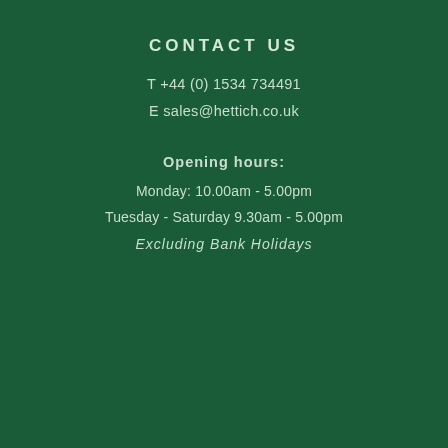CONTACT US
T +44 (0) 1534 734491
E sales@hettich.co.uk
Opening hours:
Monday: 10.00am - 5.00pm
Tuesday - Saturday 9.30am - 5.00pm
Excluding Bank Holidays